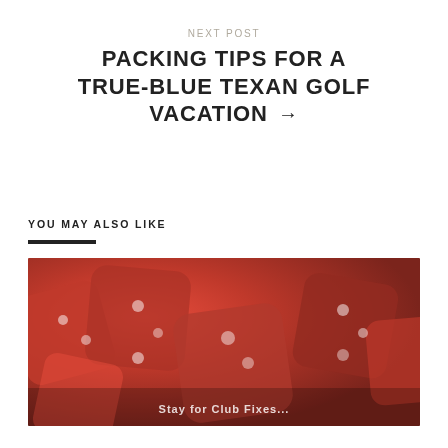NEXT POST
PACKING TIPS FOR A TRUE-BLUE TEXAN GOLF VACATION →
YOU MAY ALSO LIKE
[Figure (photo): Close-up photo of red dice or similar red game pieces with white dots, with overlay text at bottom.]